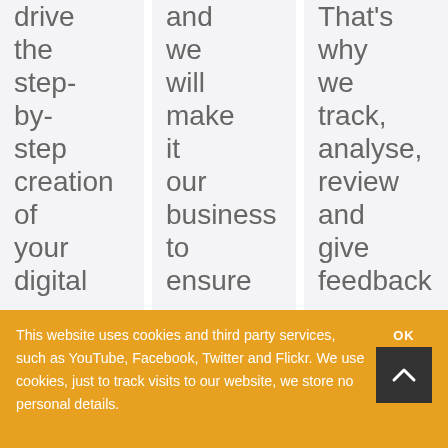drive the step-by-step creation of your digital
and we will make it our business to ensure
That's why we track, analyse, review and give feedback
This website uses cookies and third party services, such as YouTube, Facebook, Twitter and Flickr. We use cookies, just to track visits to our website, we store no personal details.